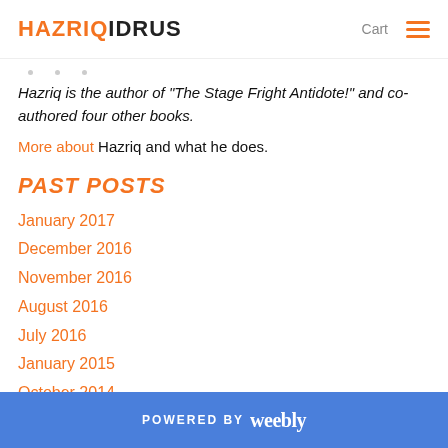HAZRIQIDRUS  Cart ☰
Hazriq is the author of "The Stage Fright Antidote!" and co-authored four other books.
More about Hazriq and what he does.
PAST POSTS
January 2017
December 2016
November 2016
August 2016
July 2016
January 2015
October 2014
POWERED BY weebly